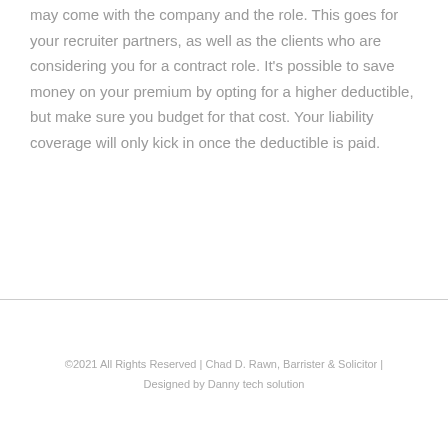may come with the company and the role. This goes for your recruiter partners, as well as the clients who are considering you for a contract role. It's possible to save money on your premium by opting for a higher deductible, but make sure you budget for that cost. Your liability coverage will only kick in once the deductible is paid.
©2021 All Rights Reserved | Chad D. Rawn, Barrister & Solicitor | Designed by Danny tech solution